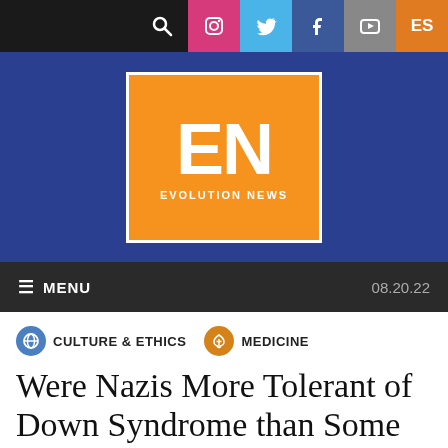[Figure (screenshot): Website navigation bar with search, Instagram, Twitter, Facebook, YouTube icons and ES language button]
[Figure (logo): Evolution News logo: orange rectangle with white letters EN and text EVOLUTION NEWS]
≡ MENU   08.20.22
CULTURE & ETHICS   MEDICINE
Were Nazis More Tolerant of Down Syndrome than Some European Countries Today?